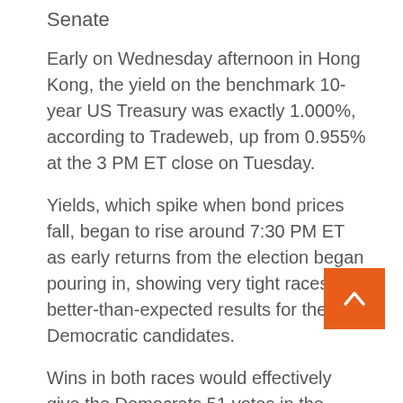Senate
Early on Wednesday afternoon in Hong Kong, the yield on the benchmark 10-year US Treasury was exactly 1.000%, according to Tradeweb, up from 0.955% at the 3 PM ET close on Tuesday.
Yields, which spike when bond prices fall, began to rise around 7:30 PM ET as early returns from the election began pouring in, showing very tight races but better-than-expected results for the Democratic candidates.
Wins in both races would effectively give the Democrats 51 votes in the Senate, when counting the cutoff votes for the vice president-elect.
Kamala Harris
It is an outcome that many investors believe will herald